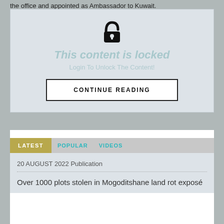the office and appointed as Ambassador to Kuwait.
[Figure (other): Locked content box with an open padlock icon, 'This content is locked' heading, 'Login To Unlock The Content!' subtext, and a 'CONTINUE READING' button]
LATEST   POPULAR   VIDEOS
20 AUGUST 2022 Publication
Over 1000 plots stolen in Mogoditshane land rot exposé